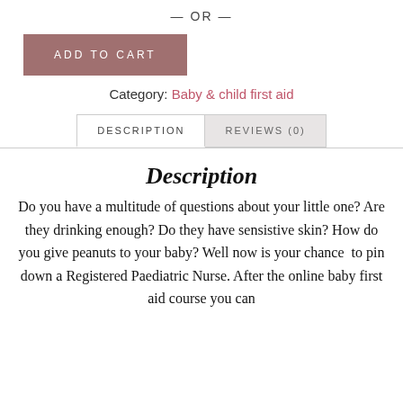— OR —
[Figure (other): ADD TO CART button with mauve/rose background color]
Category: Baby & child first aid
DESCRIPTION | REVIEWS (0)
Description
Do you have a multitude of questions about your little one? Are they drinking enough? Do they have sensistive skin? How do you give peanuts to your baby? Well now is your chance  to pin down a Registered Paediatric Nurse. After the online baby first aid course you can